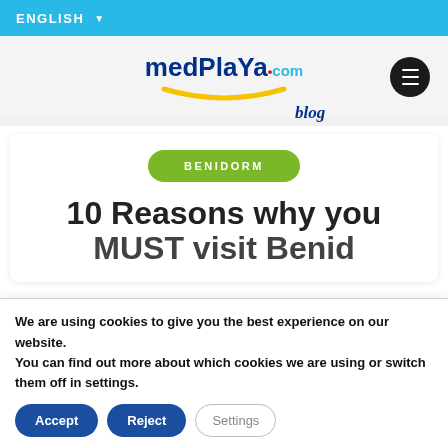ENGLISH
[Figure (logo): medplaya.com blog logo with yellow smile arc underneath and hamburger menu button]
BENIDORM
10 Reasons why you MUST visit Benidorm
We are using cookies to give you the best experience on our website.
You can find out more about which cookies we are using or switch them off in settings.
Accept  Reject  Settings